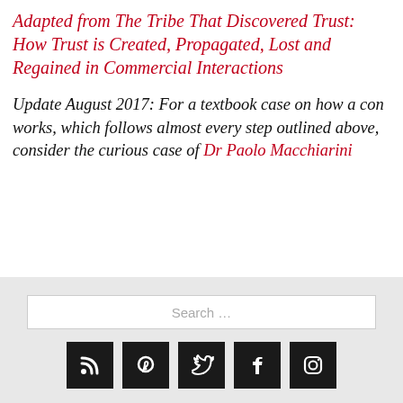Adapted from The Tribe That Discovered Trust: How Trust is Created, Propagated, Lost and Regained in Commercial Interactions
Update August 2017: For a textbook case on how a con works, which follows almost every step outlined above, consider the curious case of Dr Paolo Macchiarini
[Figure (other): Search bar and social media icons (RSS, Pinterest, Twitter, Facebook, Instagram) in a grey footer area]